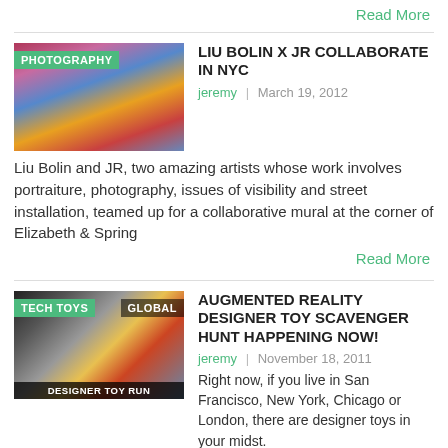Read More
[Figure (photo): Photography thumbnail showing colorful toys/figurines in a store, with green PHOTOGRAPHY label]
LIU BOLIN X JR COLLABORATE IN NYC
jeremy | March 19, 2012
Liu Bolin and JR, two amazing artists whose work involves portraiture, photography, issues of visibility and street installation, teamed up for a collaborative mural at the corner of Elizabeth & Spring
Read More
[Figure (photo): Tech Toys thumbnail showing designer toy figures including a golden duck, with TECH TOYS and GLOBAL labels, and DESIGNER TOY RUN at bottom]
AUGMENTED REALITY DESIGNER TOY SCAVENGER HUNT HAPPENING NOW!
jeremy | November 18, 2011
Right now, if you live in San Francisco, New York, Chicago or London, there are designer toys in your midst.